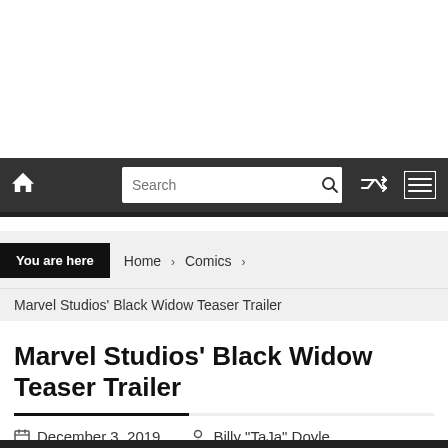Navigation bar with home icon, search box, shuffle icon, and menu icon
You are here   Home   Comics   Marvel Studios’ Black Widow Teaser Trailer
Marvel Studios’ Black Widow Teaser Trailer
December 3, 2019   Billy "TaJa" Doyle